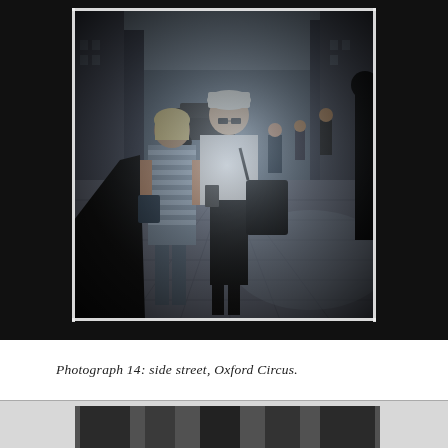[Figure (photo): Street photograph showing two women on a busy pedestrian street (side street, Oxford Circus). One woman wears a white top and sunglasses, carrying a large black bag; the other wears a striped outfit. Background shows more pedestrians walking down a paved street with buildings on either side. The photo is taken with a Lomo/film-style camera giving heavy vignetting and dark borders.]
Photograph 14: side street, Oxford Circus.
[Figure (photo): Partial view of a second photograph, cropped at the bottom of the page. Shows a dark scene with what appears to be urban/architectural elements. Black and white or very dark toned image.]